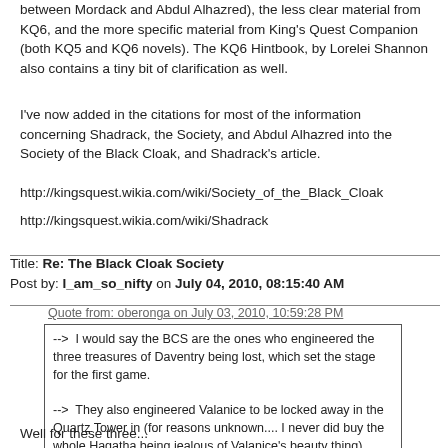between Mordack and Abdul Alhazred), the less clear material from KQ6, and the more specific material from King's Quest Companion (both KQ5 and KQ6 novels). The KQ6 Hintbook, by Lorelei Shannon also contains a tiny bit of clarification as well.
I've now added in the citations for most of the information concerning Shadrack, the Society, and Abdul Alhazred into the Society of the Black Cloak, and Shadrack's article.
http://kingsquest.wikia.com/wiki/Society_of_the_Black_Cloak
http://kingsquest.wikia.com/wiki/Shadrack
Title: Re: The Black Cloak Society
Post by: I_am_so_nifty on July 04, 2010, 08:15:40 AM
Quote from: oberonga on July 03, 2010, 10:59:28 PM
--> I would say the BCS are the ones who engineered the three treasures of Daventry being lost, which set the stage for the first game.

--> They also engineered Valanice to be locked away in the Quartz Tower in (for reasons unknown.... I never did buy the whole Hagatha being jealous of Valanice's beauty thing).

--> Manannon kidnapping Alexander as baby (probably not a big stretch, as Mannanon did kidnap other baby boys prior to Alexander so it probably would not have been difficult for the BCS to... suggest ALexander as a Wizard's Slave).
Well for these three...